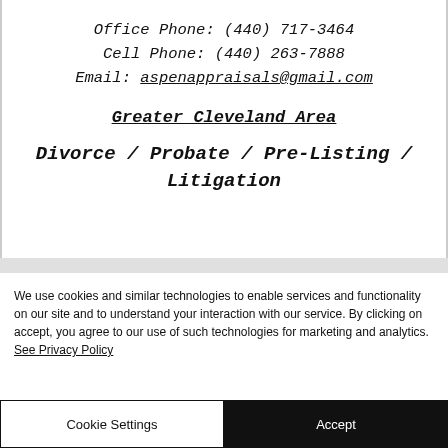Office Phone: (440) 717-3464
Cell Phone: (440) 263-7888
Email: aspenappraisals@gmail.com
Greater Cleveland Area
Divorce / Probate / Pre-Listing / Litigation
We use cookies and similar technologies to enable services and functionality on our site and to understand your interaction with our service. By clicking on accept, you agree to our use of such technologies for marketing and analytics. See Privacy Policy